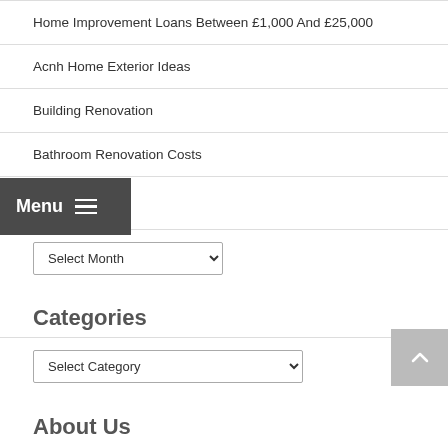Home Improvement Loans Between £1,000 And £25,000
Acnh Home Exterior Ideas
Building Renovation
Bathroom Renovation Costs
Archives
Select Month (dropdown)
Categories
Select Category (dropdown)
About Us